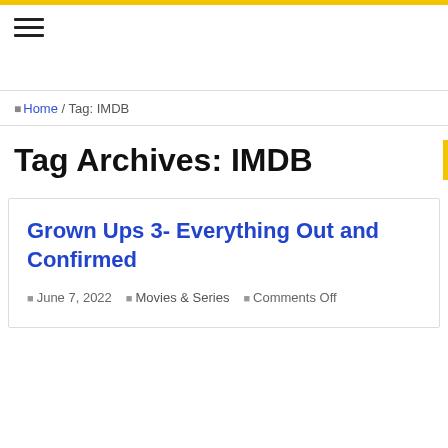☰ (hamburger menu icon)
🏠 Home / Tag: IMDB
Tag Archives: IMDB
Grown Ups 3- Everything Out and Confirmed
June 7, 2022  Movies & Series  Comments Off